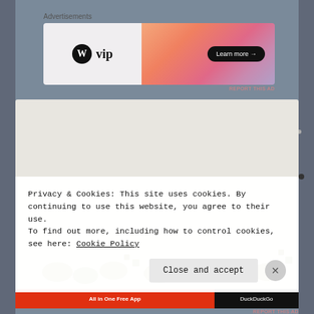Advertisements
[Figure (screenshot): WordPress VIP advertisement banner with coral/pink gradient background and 'Learn more →' button]
[Figure (screenshot): Partially visible webpage content showing a decorative pattern with green dots on a light background]
Privacy & Cookies: This site uses cookies. By continuing to use this website, you agree to their use.
To find out more, including how to control cookies, see here: Cookie Policy
Close and accept